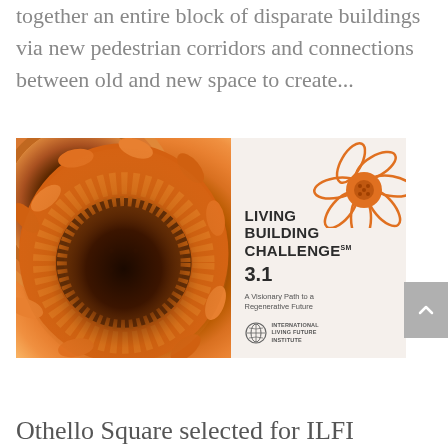together an entire block of disparate buildings via new pedestrian corridors and connections between old and new space to create...
[Figure (illustration): Cover image of 'Living Building Challenge 3.1 — A Visionary Path to a Regenerative Future' published by International Living Future Institute. Left half shows a close-up photo of an orange sunflower. Right half is a white/light panel with an orange illustrated flower in the top-right corner and the document title and version text.]
Othello Square selected for ILFI